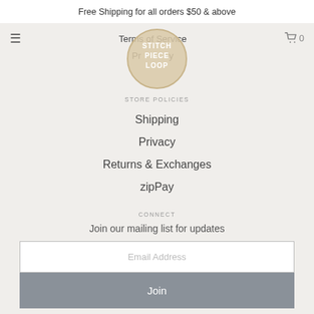Free Shipping for all orders $50 & above
Terms of Service
Privacy
[Figure (logo): Stitch Piece Loop circular logo with text STITCH PIECE LOOP inside a circle]
STORE POLICIES
Shipping
Privacy
Returns & Exchanges
zipPay
CONNECT
Join our mailing list for updates
Email Address
Join